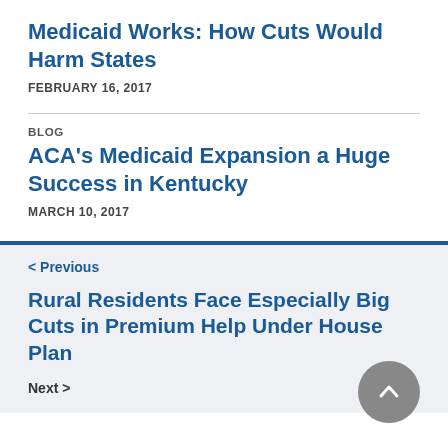Medicaid Works: How Cuts Would Harm States
FEBRUARY 16, 2017
BLOG
ACA's Medicaid Expansion a Huge Success in Kentucky
MARCH 10, 2017
< Previous
Rural Residents Face Especially Big Cuts in Premium Help Under House Plan
Next >